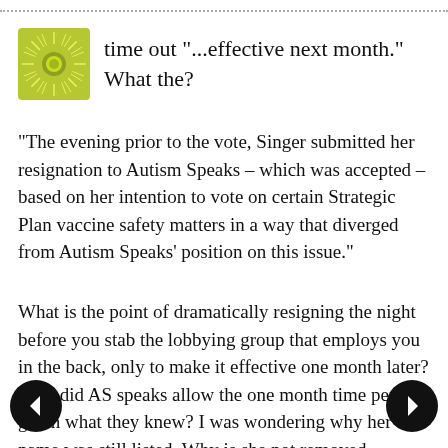[Figure (logo): Green sunburst logo icon with yellow-green radiating lines and a central circle]
time out "...effective next month." What the?
"The evening prior to the vote, Singer submitted her resignation to Autism Speaks – which was accepted – based on her intention to vote on certain Strategic Plan vaccine safety matters in a way that diverged from Autism Speaks' position on this issue."
What is the point of dramatically resigning the night before you stab the lobbying group that employs you in the back, only to make it effective one month later? Why did AS speaks allow the one month time period given what they knew? I was wondering why her name was still listed. Why is she not removed